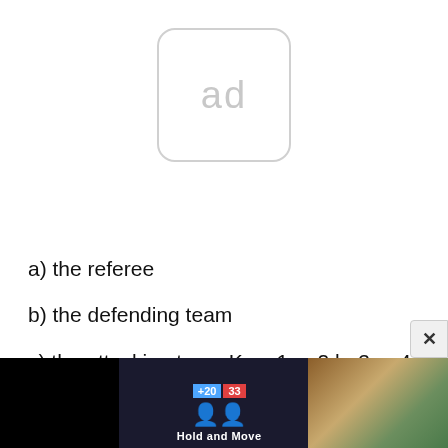[Figure (other): Ad placeholder box with rounded corners showing 'ad' text in light gray]
a) the referee
b) the defending team
c) the attacking team Key: 1 a; 2 b; 3 a; 4 b; 5 c.
[Figure (screenshot): Ad banner at bottom showing a sports app 'Hold and Move' with score display and outdoor photo]